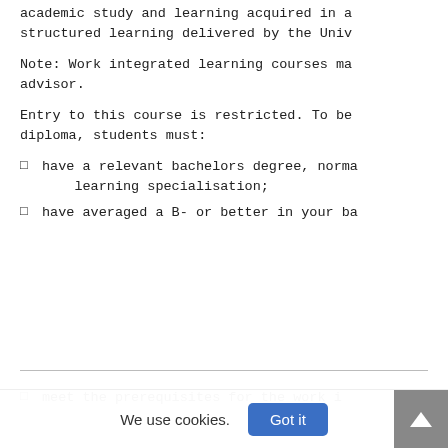academic study and learning acquired in a structured learning delivered by the Univ
Note: Work integrated learning courses ma advisor.
Entry to this course is restricted. To be diploma, students must:
have a relevant bachelors degree, norma learning specialisation;
have averaged a B- or better in your ba
meet the prerequisites for the work i